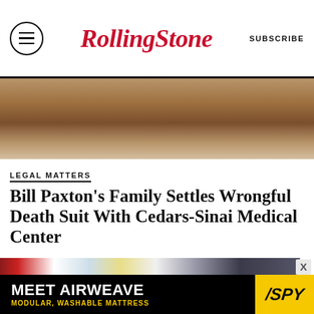RollingStone | SUBSCRIBE
[Figure (photo): Close-up photo of Bill Paxton wearing a brown leather jacket]
LEGAL MATTERS
Bill Paxton's Family Settles Wrongful Death Suit With Cedars-Sinai Medical Center
BY EMILY ZEMLER
[Figure (photo): Film still showing a young actor on a telephone, with text 'CAME' visible in background]
[Figure (photo): Advertisement banner: MEET AIRWEAVE MODULAR, WASHABLE MATTRESS with SPY logo]